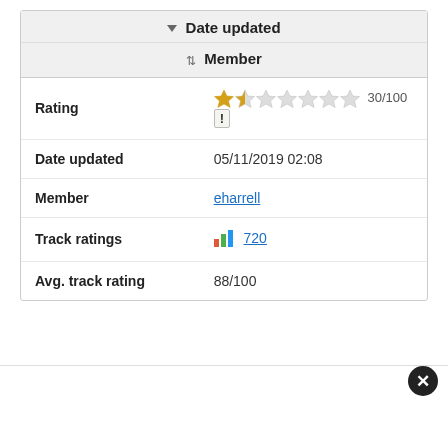Date updated
Member
| Field | Value |
| --- | --- |
| Rating | ★★☆☆☆☆☆ 30/100 |
| Date updated | 05/11/2019 02:08 |
| Member | eharrell |
| Track ratings | 720 |
| Avg. track rating | 88/100 |